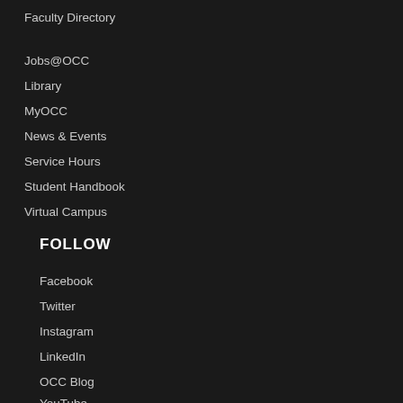Faculty Directory
Jobs@OCC
Library
MyOCC
News & Events
Service Hours
Student Handbook
Virtual Campus
FOLLOW
Facebook
Twitter
Instagram
LinkedIn
OCC Blog
YouTube